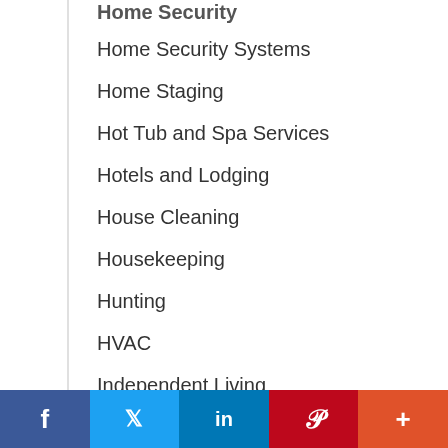Home Security Systems
Home Staging
Hot Tub and Spa Services
Hotels and Lodging
House Cleaning
Housekeeping
Hunting
HVAC
Independent Living
Industrial
Inspections
Insurance
Insurance - Auto
f  Twitter  in  P  +